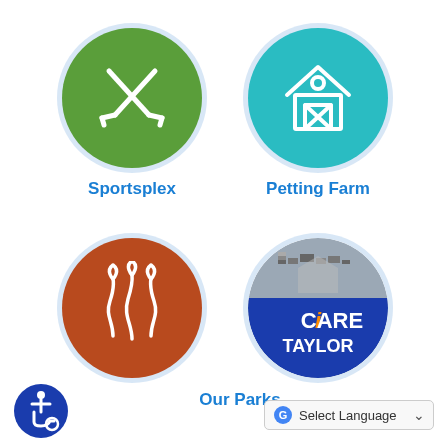[Figure (illustration): Green circle with white crossed hockey sticks icon - Sportsplex]
Sportsplex
[Figure (illustration): Teal circle with white barn/farm building icon - Petting Farm]
Petting Farm
[Figure (illustration): Rust/brown circle with white nature trails/plants icon - Our Parks]
[Figure (logo): iCARE TAYLOR logo on blue/gray circle background]
Our Parks
[Figure (illustration): Accessibility wheelchair icon circle]
Select Language